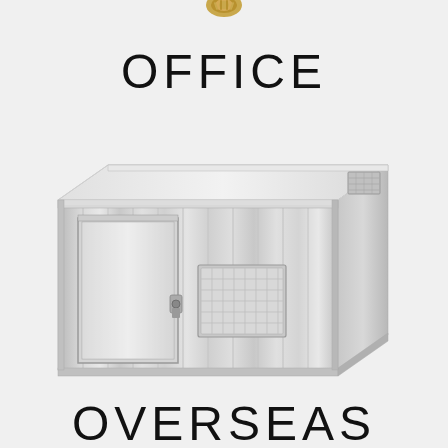[Figure (illustration): Partial logo/emblem at top center of page, partially cropped]
OFFICE
[Figure (illustration): 3D rendering of a portable office container/shipping container unit, light grey metallic finish with corrugated sides, single door on left side, window/AC unit on front face, ventilation grille on right end panel]
OVERSEAS